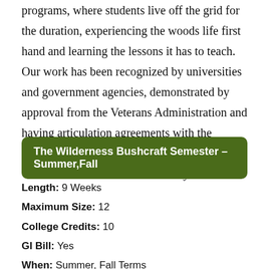programs, where students live off the grid for the duration, experiencing the woods life first hand and learning the lessons it has to teach. Our work has been recognized by universities and government agencies, demonstrated by approval from the Veterans Administration and having articulation agreements with the University of Maine at Presque Isle and Western State Colorado University.
The Wilderness Bushcraft Semester – Summer,Fall
Length: 9 Weeks
Maximum Size: 12
College Credits: 10
GI Bill: Yes
When: Summer, Fall Terms
Sessions Per Year: 2